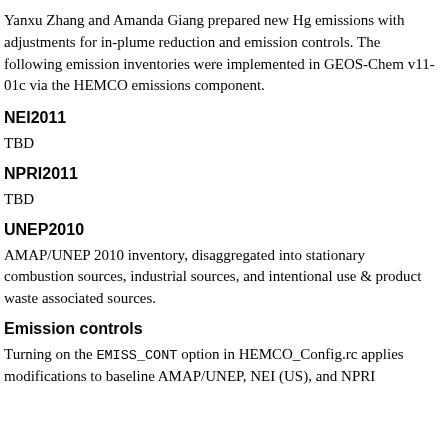Yanxu Zhang and Amanda Giang prepared new Hg emissions with adjustments for in-plume reduction and emission controls. The following emission inventories were implemented in GEOS-Chem v11-01c via the HEMCO emissions component.
NEI2011
TBD
NPRI2011
TBD
UNEP2010
AMAP/UNEP 2010 inventory, disaggregated into stationary combustion sources, industrial sources, and intentional use & product waste associated sources.
Emission controls
Turning on the EMISS_CONT option in HEMCO_Config.rc applies modifications to baseline AMAP/UNEP, NEI (US), and NPRI